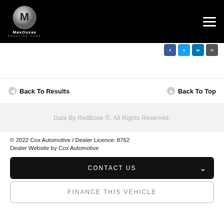[Figure (logo): MaxOuzas Prestige Cars logo with silver M emblem on black background]
MaxOuzas Prestige Cars
Back To Results
Back To Top
Data By RedBook ©. All Rights Reserved.
© 2022 Cox Automotive / Dealer Licence: 8762
Dealer Website by Cox Automotive
CONTACT US
FINANCE THIS VEHICLE